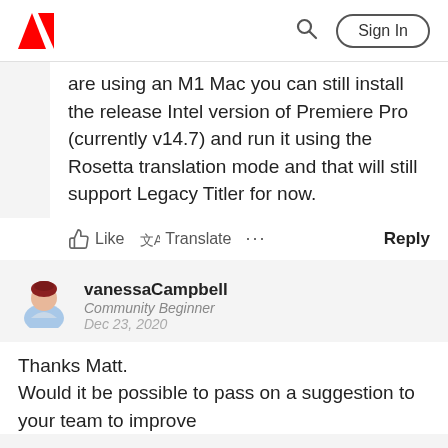Adobe | Sign In
are using an M1 Mac you can still install the release Intel version of Premiere Pro (currently v14.7) and run it using the Rosetta translation mode and that will still support Legacy Titler for now.
Like  Translate  ...  Reply
vanessaCampbell
Community Beginner
Dec 23, 2020
Thanks Matt.
Would it be possible to pass on a suggestion to your team to improve